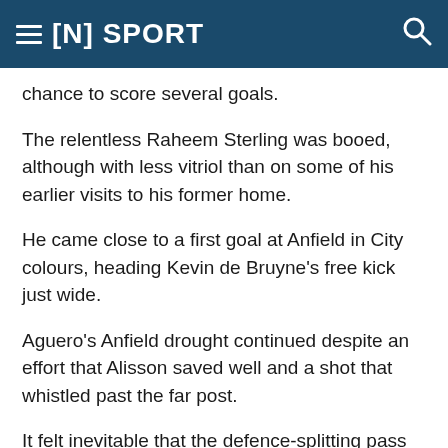[N] SPORT
…chance to score several goals.
The relentless Raheem Sterling was booed, although with less vitriol than on some of his earlier visits to his former home.
He came close to a first goal at Anfield in City colours, heading Kevin de Bruyne's free kick just wide.
Aguero's Anfield drought continued despite an effort that Alisson saved well and a shot that whistled past the far post.
It felt inevitable that the defence-splitting pass to release him came from De Bruyne.